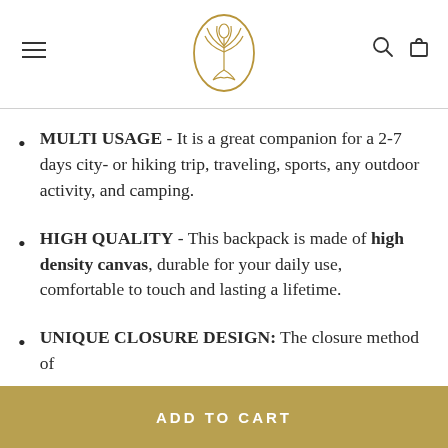Navigation header with logo and icons
MULTI USAGE - It is a great companion for a 2-7 days city- or hiking trip, traveling, sports, any outdoor activity, and camping.
HIGH QUALITY - This backpack is made of high density canvas, durable for your daily use, comfortable to touch and lasting a lifetime.
UNIQUE CLOSURE DESIGN: The closure method of
ADD TO CART